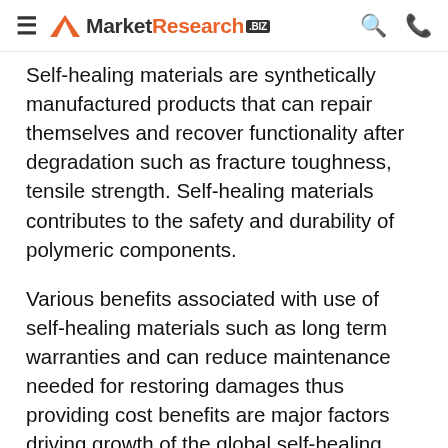MarketResearch.biz
Self-healing materials are synthetically manufactured products that can repair themselves and recover functionality after degradation such as fracture toughness, tensile strength. Self-healing materials contributes to the safety and durability of polymeric components.
Various benefits associated with use of self-healing materials such as long term warranties and can reduce maintenance needed for restoring damages thus providing cost benefits are major factors driving growth of the global self-healing materials market over the forecast